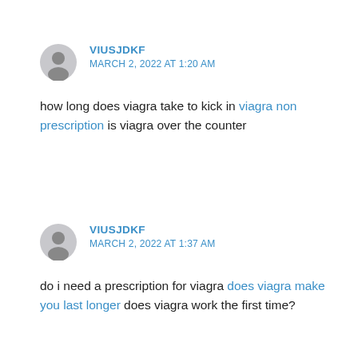VIUSJDKF
MARCH 2, 2022 AT 1:20 AM
how long does viagra take to kick in viagra non prescription is viagra over the counter
VIUSJDKF
MARCH 2, 2022 AT 1:37 AM
do i need a prescription for viagra does viagra make you last longer does viagra work the first time?